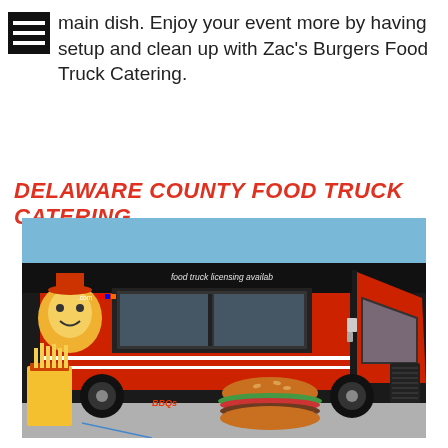main dish. Enjoy your event more by having setup and clean up with Zac's Burgers Food Truck Catering.
DELAWARE COUNTY FOOD TRUCK CATERING
[Figure (photo): A large red and black food truck with food truck branding, wrapped with images of burgers and fries, parked in a lot. Text on top reads 'food truck licensing available'.]